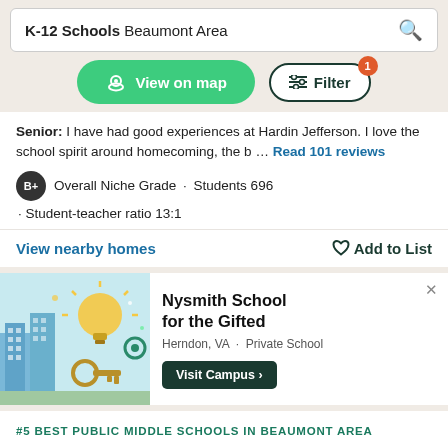K-12 Schools Beaumont Area
View on map
Filter 1
Senior: I have had good experiences at Hardin Jefferson. I love the school spirit around homecoming, the b … Read 101 reviews
B+ Overall Niche Grade · Students 696 · Student-teacher ratio 13:1
View nearby homes · Add to List
[Figure (infographic): Advertisement for Nysmith School for the Gifted, Herndon VA Private School, with a colorful illustration of a city with a lightbulb and gears. Includes Visit Campus button.]
#5 BEST PUBLIC MIDDLE SCHOOLS IN BEAUMONT AREA